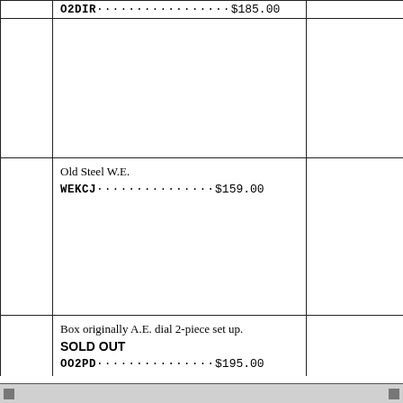| Image | Description |  |
| --- | --- | --- |
|  | O2DIR·················$185.00 |  |
|  | Old Steel W.E.
WEKCJ···············$159.00 |  |
|  | Box originally A.E. dial 2-piece set up.
SOLD OUT
OO2PD···············$195.00 |  |